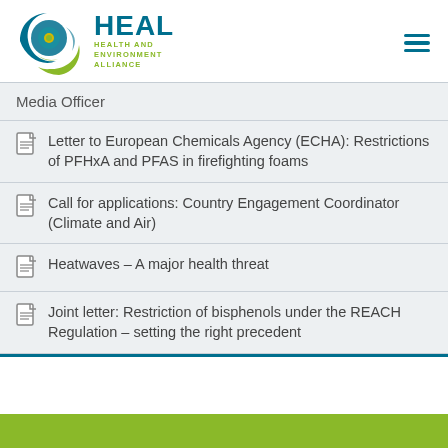[Figure (logo): HEAL Health and Environment Alliance logo with circular swoosh graphic in teal and green]
Media Officer
Letter to European Chemicals Agency (ECHA): Restrictions of PFHxA and PFAS in firefighting foams
Call for applications: Country Engagement Coordinator (Climate and Air)
Heatwaves – A major health threat
Joint letter: Restriction of bisphenols under the REACH Regulation – setting the right precedent